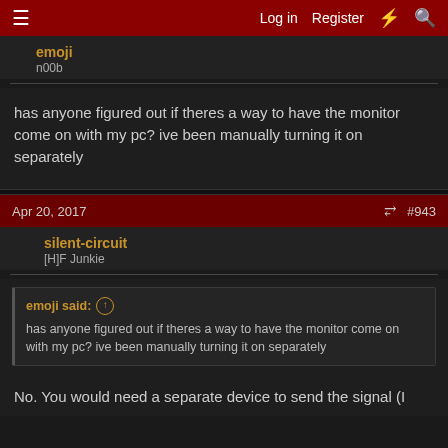Log in  Register  #  Search
emoji
n00b
has anyone figured out if theres a way to have the monitor come on with my pc? ive been manually turning it on separately
Apr 20, 2017  #943
silent-circuit
[H]F Junkie
emoji said: ↑
has anyone figured out if theres a way to have the monitor come on with my pc? ive been manually turning it on separately
No. You would need a separate device to send the signal (I